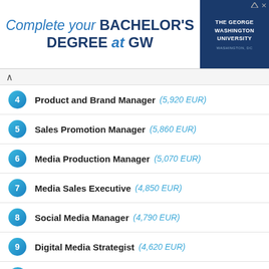[Figure (infographic): Advertisement banner for The George Washington University: 'Complete your BACHELOR'S DEGREE at GW' with GW logo on the right]
4 Product and Brand Manager (5,920 EUR)
5 Sales Promotion Manager (5,860 EUR)
6 Media Production Manager (5,070 EUR)
7 Media Sales Executive (4,850 EUR)
8 Social Media Manager (4,790 EUR)
9 Digital Media Strategist (4,620 EUR)
10 Advertising Account Manager (4,510 EUR)
[Figure (photo): Partial blue-framed photo at the bottom of the page, showing partial image content]